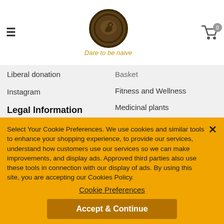Dare to be naive — website header with logo and cart
Basket
Liberal donation
Fitness and Wellness
Instagram
Medicinal plants
Legal Information
Privacy and Legal Policy
Nutrition and Performance
Code of Conduct
Select Your Cookie Preferences. We use cookies and similar tools to enhance your shopping experience, to provide our services, understand how customers use our services so we can make improvements, and display ads. Approved third parties also use these tools in connection with our display of ads. By using this site, you are accepting our Cookies Policy.
Cookie Preferences
Accept & Continue